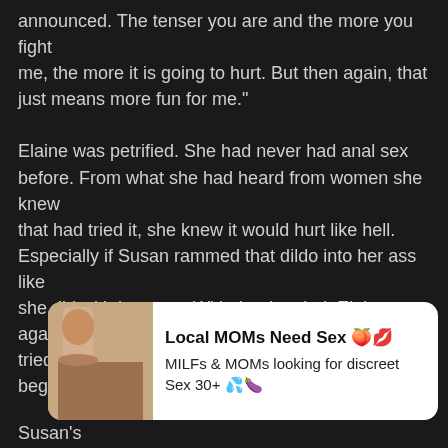announced. The tenser you are and the more you fight me, the more it is going to hurt. But then again, that just means more fun for me."

Elaine was petrified. She had never had anal sex before. From what she had heard from women she knew that had tried it, she knew it would hurt like hell. Especially if Susan rammed that dildo into her ass like she did with her cunt. With that in mind, Elaine again tried to appeal to Susan's sensitive side and was begging and pleading with Susan not to go forward
[Figure (screenshot): Ad banner with photo of a woman, text: Local MOMs Need Sex, MILFs & MOMs looking for discreet Sex 30+]
Susan's